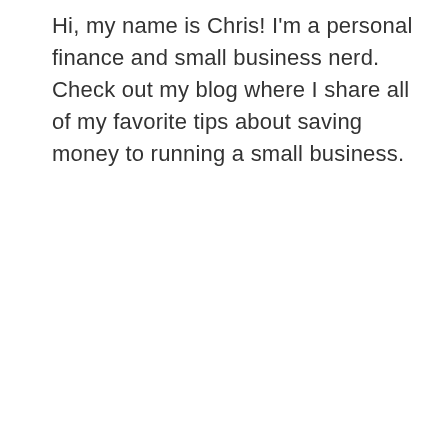Hi, my name is Chris! I'm a personal finance and small business nerd.  Check out my blog where I share all of my favorite tips about saving money to running a small business.